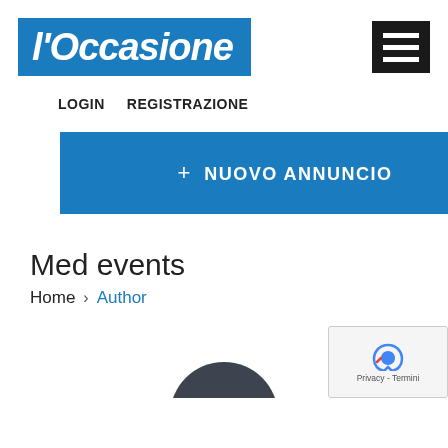l'Occasione
LOGIN   REGISTRAZIONE
+ NUOVO ANNUNCIO
Med events
Home > Author
[Figure (other): User avatar circle icon (dark gray), partially visible at bottom of page. Google reCAPTCHA badge visible in bottom right corner with Privacy - Termini text.]